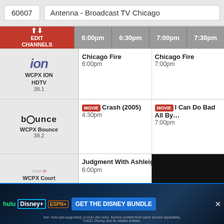60607
Antenna - Broadcast TV Chicago
| Channel | 6:00pm | 6:30pm | 7:00pm | 7:30pm |
| --- | --- | --- | --- | --- |
| WCPX ION HDTV 38.1 | Chicago Fire 6:00pm |  | Chicago Fire 7:00pm |  |
| WCPX Bounce 38.2 | MOVIE Crash (2005) 4:30pm |  | MOVIE I Can Do Bad All By... 7:00pm |  |
| WCPX Court TV 38.3 | Judgment With Ashleigh Banfield 6:00pm |  |  |  |
[Figure (screenshot): Black video player popup overlay with close button]
[Figure (infographic): Disney Bundle advertisement banner with Hulu, Disney+, ESPN+ logos and GET THE DISNEY BUNDLE button]